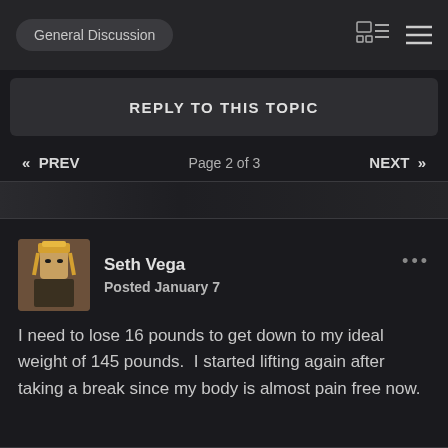General Discussion
REPLY TO THIS TOPIC
« PREV   Page 2 of 3   NEXT »
Seth Vega
Posted January 7
I need to lose 16 pounds to get down to my ideal weight of 145 pounds.  I started lifting again after taking a break since my body is almost pain free now.